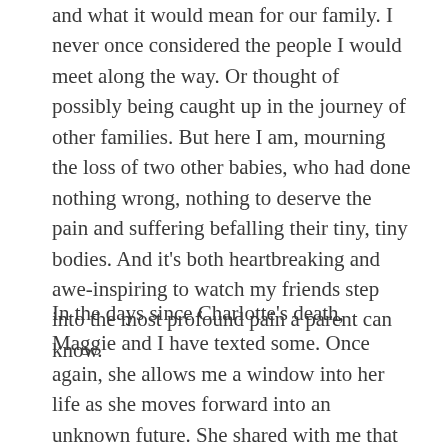and what it would mean for our family. I never once considered the people I would meet along the way. Or thought of possibly being caught up in the journey of other families. But here I am, mourning the loss of two other babies, who had done nothing wrong, nothing to deserve the pain and suffering befalling their tiny, tiny bodies. And it's both heartbreaking and awe-inspiring to watch my friends step into the most profound pain a parent can know.
In the days since Charlotte's death, Maggie and I have texted some. Once again, she allows me a window into her life as she moves forward into an unknown future. She shared with me that she often thinks birds symbolize the presence of a beloved loved